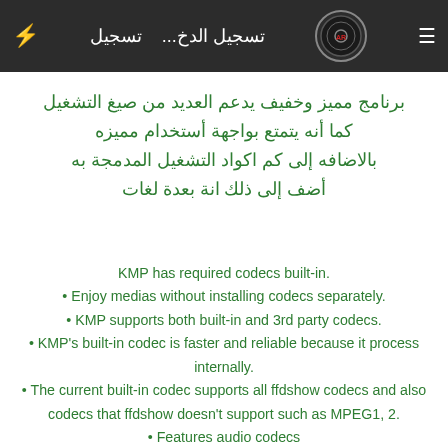تسجيل الدخ...   تسجيل   ⚡   [logo]   ≡
برنامج مميز وخفيف يدعم العديد من صيغ التشغيل
كما أنه يتمتع بواجهة أستخدام مميزه
بالاضافه إلى كم اكواد التشغيل المدمجة به
أضف إلى ذلك انة بعدة لغات
KMP has required codecs built-in.
• Enjoy medias without installing codecs separately.
• KMP supports both built-in and 3rd party codecs.
• KMP's built-in codec is faster and reliable because it process internally.
• The current built-in codec supports all ffdshow codecs and also codecs that ffdshow doesn't support such as MPEG1, 2.
• Features audio codecs (.AC3, MPEG1, 2, AAC, WMA 7, 8 etc).
• Matrix/normalizer options through built-in voice codec.
• Through KMP's built-in codecs, you can enjoy all major media formats.
• KMP additionally supports 3rd party codecs for users that...